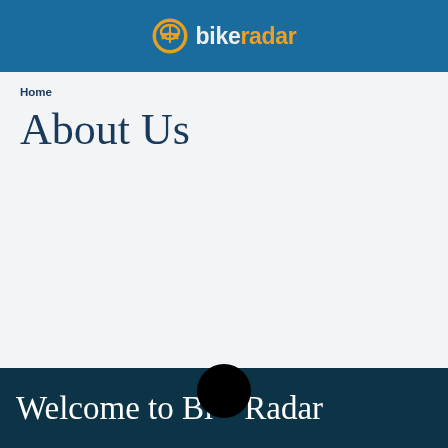bikeradar
Home
About Us
Welcome to BikeRadar